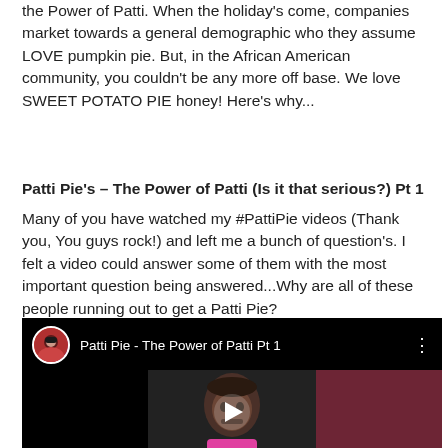the Power of Patti. When the holiday's come, companies market towards a general demographic who they assume LOVE pumpkin pie. But, in the African American community, you couldn't be any more off base. We love SWEET POTATO PIE honey! Here's why...
Patti Pie's – The Power of Patti (Is it that serious?) Pt 1
Many of you have watched my #PattiPie videos (Thank you, You guys rock!) and left me a bunch of question's. I felt a video could answer some of them with the most important question being answered...Why are all of these people running out to get a Patti Pie?
[Figure (screenshot): Embedded YouTube video thumbnail showing 'Patti Pie - The Power of Patti Pt 1' with a woman's face, a play button, and channel avatar in the top left corner on a black background.]